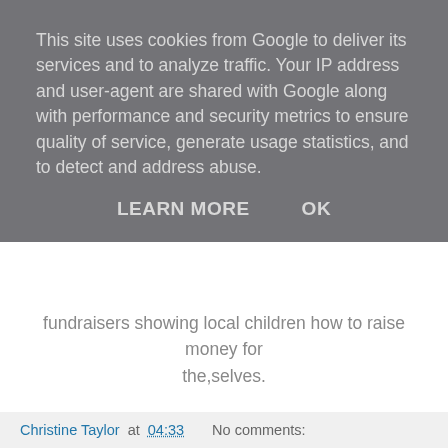This site uses cookies from Google to deliver its services and to analyze traffic. Your IP address and user-agent are shared with Google along with performance and security metrics to ensure quality of service, generate usage statistics, and to detect and address abuse.
LEARN MORE    OK
fundraisers showing local children how to raise money for the,selves.
Afia told me "It doesn't matter if you've not got much. You can still become something".
Disclosure: This post is written in association with McDonalds.
All opinions expressed within this post are 100% honest and all my own.
Christine Taylor at 04:33    No comments: